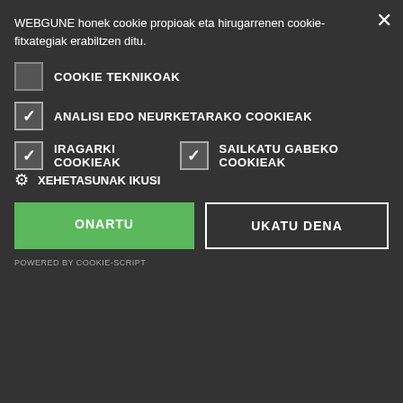[Figure (illustration): Chinese numeral system showing characters for 10+2, 2×10, 2×10+2 at top, then rows for 10 000 (yi wan = 1×10 000), 100 000 (shi wan = 10×10 000), 1 000 000 (yi bai wan = 1×100×10 000), 10 000 000 (yi qian wan = 1×1 000×10 000)]
WEBGUNE honek cookie propioak eta hirugarrenen cookie-fitxategiak erabiltzen ditu.
COOKIE TEKNIKOAK
ANALISI EDO NEURKETARAKO COOKIEAK
IRAGARKI COOKIEAK
SAILKATU GABEKO COOKIEAK
XEHETASUNAK IKUSI
ONARTU
UKATU DENA
POWERED BY COOKIE-SCRIPT